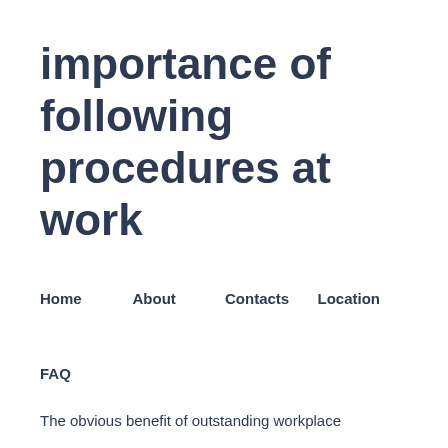importance of following procedures at work
Home
About
Contacts
Location
FAQ
The obvious benefit of outstanding workplace